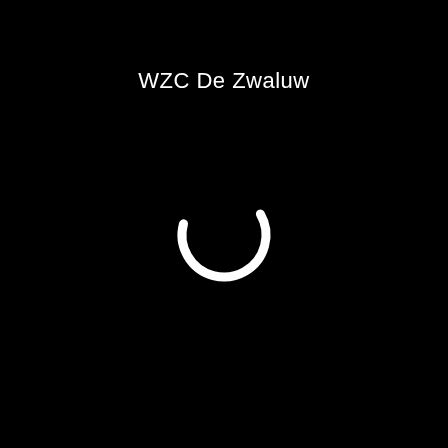WZC De Zwaluw
[Figure (other): A white circular loading spinner (letter C shape / arc) on a black background, centered in the lower half of the page]